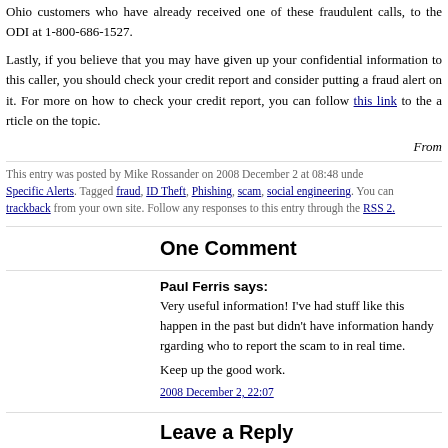Ohio customers who have already received one of these fraudulent calls, to the ODI at 1-800-686-1527.
Lastly, if you believe that you may have given up your confidential information to this caller, you should check your credit report and consider putting a fraud alert on it. For more on how to check your credit report, you can follow this link to the article on the topic.
From
This entry was posted by Mike Rossander on 2008 December 2 at 08:48 under Specific Alerts. Tagged fraud, ID Theft, Phishing, scam, social engineering. You can trackback from your own site. Follow any responses to this entry through the RSS 2.
One Comment
Paul Ferris says:
Very useful information! I've had stuff like this happen in the past but didn't have information handy rgarding who to report the scam to in real time.

Keep up the good work.
2008 December 2, 22:07
Leave a Reply